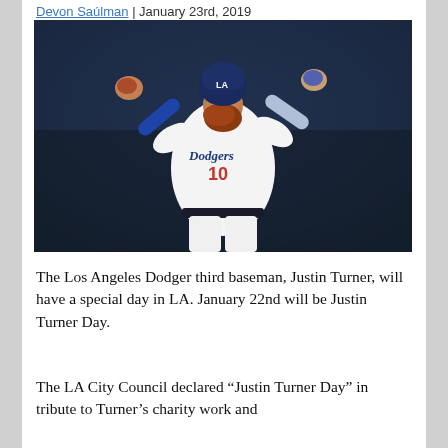Devon Saúlman | January 23rd, 2019
[Figure (photo): Los Angeles Dodgers player Justin Turner (#10) in a white Dodgers jersey, wearing a blue helmet, with arms raised, celebrating on the field. He has a prominent red beard.]
The Los Angeles Dodger third baseman, Justin Turner, will have a special day in LA. January 22nd will be Justin Turner Day.
The LA City Council declared “Justin Turner Day” in tribute to Turner’s charity work and